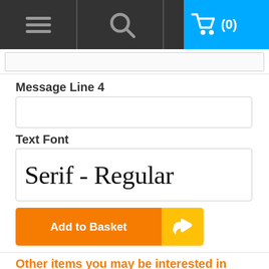[Figure (screenshot): Top navigation bar with hamburger menu, search icon, and shopping cart (0) in blue]
Message Line 4
[Figure (screenshot): Empty text input box for Message Line 4]
Text Font
[Figure (screenshot): Font selector dropdown showing 'Serif - Regular' in serif font]
[Figure (screenshot): Add to Basket button with thumbs up icon]
Other items you may be interested in
Personalised Engraved Hanging Rectangle Slate Plaque Sign - 25x10cm